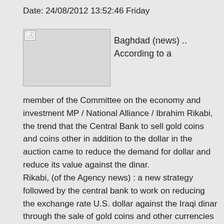Date: 24/08/2012 13:52:46 Friday
[Figure (photo): Broken/missing image placeholder with a small document icon in the top-left corner]
Baghdad (news) .. According to a member of the Committee on the economy and investment MP / National Alliance / Ibrahim Rikabi, the trend that the Central Bank to sell gold coins and coins other in addition to the dollar in the auction came to reduce the demand for dollar and reduce its value against the dinar.
Rikabi, (of the Agency news) : a new strategy followed by the central bank to work on reducing the exchange rate U.S. dollar against the Iraqi dinar through the sale of gold coins and other currencies in addition to